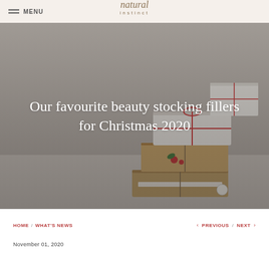MENU | natural instinct
[Figure (photo): Hero image of stacked Christmas gift boxes wrapped in white and kraft brown paper with red and white twine ribbon, on a light grey background]
Our favourite beauty stocking fillers for Christmas 2020
HOME / WHAT'S NEWS   < PREVIOUS / NEXT >
November 01, 2020